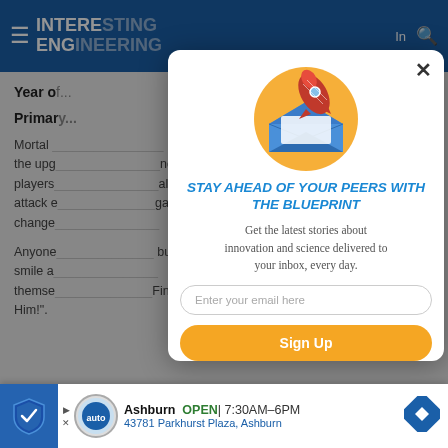[Figure (screenshot): Website background showing Interesting Engineering site with navigation header, article text about 'Year of...' and 'Primary...' sections, partially obscured by modal overlay]
[Figure (infographic): Email newsletter signup modal popup with rocket launching from envelope icon, headline 'STAY AHEAD OF YOUR PEERS WITH THE BLUEPRINT', subtext about innovation and science stories, email input field, and Sign Up button]
[Figure (screenshot): Bottom advertisement bar showing Ashburn auto business: OPEN 7:30AM-6PM, 43781 Parkhurst Plaza, Ashburn, with navigation arrow icon]